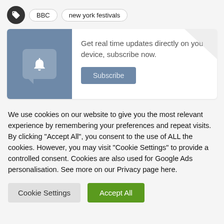BBC
new york festivals
Get real time updates directly on you device, subscribe now.
Subscribe
We use cookies on our website to give you the most relevant experience by remembering your preferences and repeat visits. By clicking "Accept All", you consent to the use of ALL the cookies. However, you may visit "Cookie Settings" to provide a controlled consent. Cookies are also used for Google Ads personalisation. See more on our Privacy page here.
Cookie Settings
Accept All